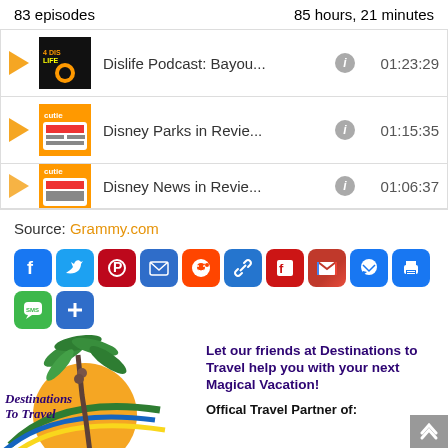83 episodes    85 hours, 21 minutes
Dislife Podcast: Bayou...  01:23:29
Disney Parks in Revie...  01:15:35
Disney News in Revie...  01:06:37
Source: Grammy.com
[Figure (infographic): Social sharing buttons: Facebook, Twitter, Pinterest, Email, Reddit, Link, Flipboard, Gmail, Messenger, Print, SMS, More(+)]
[Figure (illustration): Destinations To Travel advertisement with palm tree logo and text: Let our friends at Destinations to Travel help you with your next Magical Vacation! Offical Travel Partner of:]